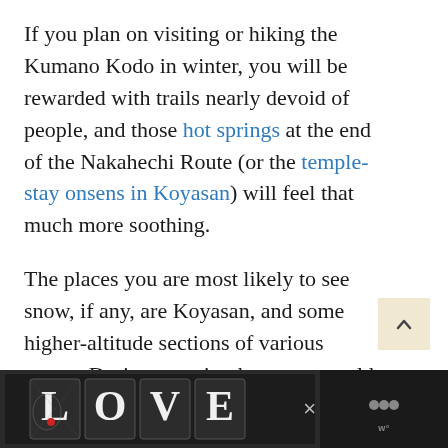If you plan on visiting or hiking the Kumano Kodo in winter, you will be rewarded with trails nearly devoid of people, and those hot springs at the end of the Nakahechi Route (or the temple-stay onsens in Koyasan) will feel that much more soothing.
The places you are most likely to see snow, if any, are Koyasan, and some higher-altitude sections of various routes. During my trip, there was a cold spell and record snows across Japan. In Koyasan, the skies were dumping snow when I
[Figure (illustration): Advertisement banner at the bottom of the page showing a decorative 'LOVE' text logo in black and white with intricate patterns and a small red heart, on a dark background. A close button (×) appears to the right. At far right, a Tidal music app icon with three dots/waves symbol.]